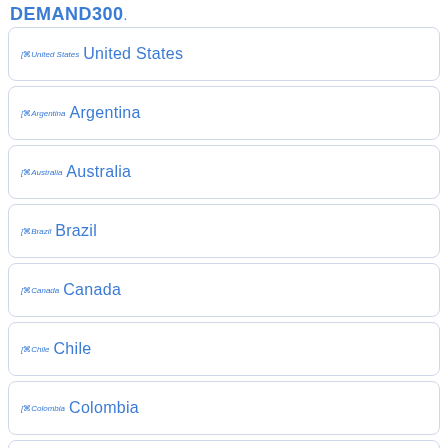DEMAND300
United States
Argentina
Australia
Brazil
Canada
Chile
Colombia
Denmark